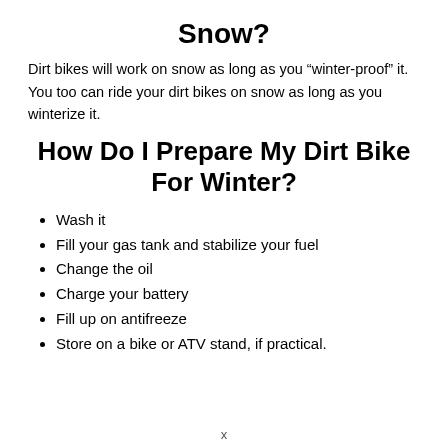Snow?
Dirt bikes will work on snow as long as you “winter-proof” it. You too can ride your dirt bikes on snow as long as you winterize it.
How Do I Prepare My Dirt Bike For Winter?
Wash it
Fill your gas tank and stabilize your fuel
Change the oil
Charge your battery
Fill up on antifreeze
Store on a bike or ATV stand, if practical.
x